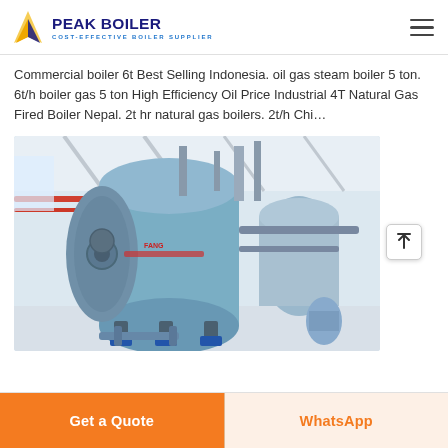PEAK BOILER - COST-EFFECTIVE BOILER SUPPLIER
Commercial boiler 6t Best Selling Indonesia. oil gas steam boiler 5 ton. 6t/h boiler gas 5 ton High Efficiency Oil Price Industrial 4T Natural Gas Fired Boiler Nepal. 2t hr natural gas boilers. 2t/h Chi…
[Figure (photo): Industrial gas-fired steam boiler in blue/grey color installed in a factory setting, showing horizontal cylindrical vessel with pipes, valves, and support structure on concrete floor.]
Get a Quote
WhatsApp